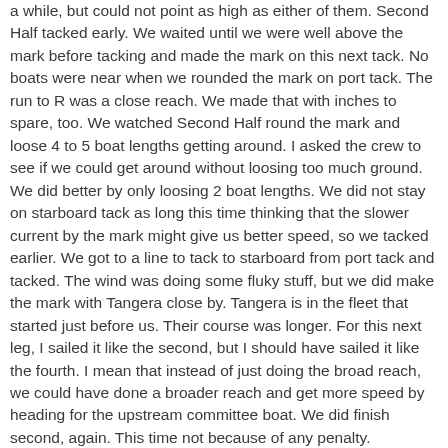a while, but could not point as high as either of them. Second Half tacked early. We waited until we were well above the mark before tacking and made the mark on this next tack. No boats were near when we rounded the mark on port tack. The run to R was a close reach. We made that with inches to spare, too. We watched Second Half round the mark and loose 4 to 5 boat lengths getting around. I asked the crew to see if we could get around without loosing too much ground. We did better by only loosing 2 boat lengths. We did not stay on starboard tack as long this time thinking that the slower current by the mark might give us better speed, so we tacked earlier. We got to a line to tack to starboard from port tack and tacked. The wind was doing some fluky stuff, but we did make the mark with Tangera close by. Tangera is in the fleet that started just before us. Their course was longer. For this next leg, I sailed it like the second, but I should have sailed it like the fourth. I mean that instead of just doing the broad reach, we could have done a broader reach and get more speed by heading for the upstream committee boat. We did finish second, again. This time not because of any penalty.